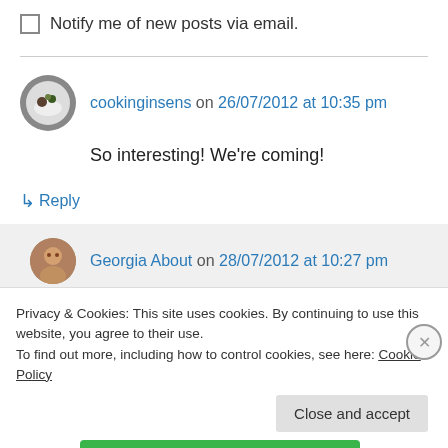Notify me of new posts via email.
cookinginsens on 26/07/2012 at 10:35 pm
So interesting! We're coming!
↳ Reply
Georgia About on 28/07/2012 at 10:27 pm
Privacy & Cookies: This site uses cookies. By continuing to use this website, you agree to their use. To find out more, including how to control cookies, see here: Cookie Policy
Close and accept